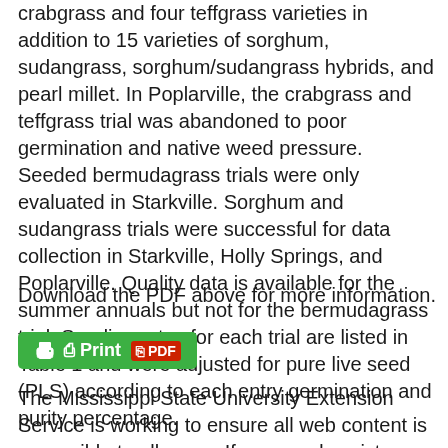crabgrass and four teffgrass varieties in addition to 15 varieties of sorghum, sudangrass, sorghum/sudangrass hybrids, and pearl millet. In Poplarville, the crabgrass and teffgrass trial was abandoned to poor germination and native weed pressure. Seeded bermudagrass trials were only evaluated in Starkville. Sorghum and sudangrass trials were successful for data collection in Starkville, Holly Springs, and Poplarville. Quality data is available for the summer annuals but not for the bermudagrass trial. Seeding rates for each trial are listed in Table 1 and were adjusted for pure live seed (PLS) according to each entry germination and purity percentage.
Download the PDF above for more information.
[Figure (other): Green button with printer icon labeled 'Print' and red PDF icon labeled 'PDF']
The Mississippi State University Extension Service is working to ensure all web content is accessible to all users. If you need assistance accessing any of our